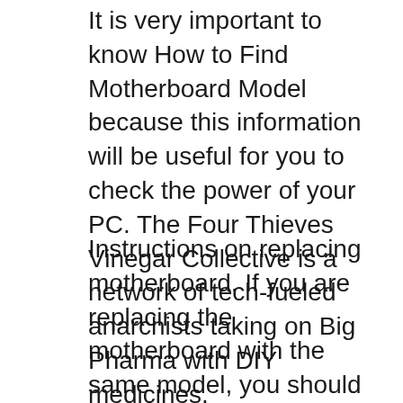It is very important to know How to Find Motherboard Model because this information will be useful for you to check the power of your PC. The Four Thieves Vinegar Collective is a network of tech-fueled anarchists taking on Big Pharma with DIY medicines.
Instructions on replacing motherboard. If you are replacing the motherboard with the same model, you should not have to reload the chipset or have to re-install the operating system. This is not always the case but normally it is. Using the BIOS to identify a motherboard. Share Tweet. The BIOS Method. Under normal conditions each and every mainboard model or model family uses